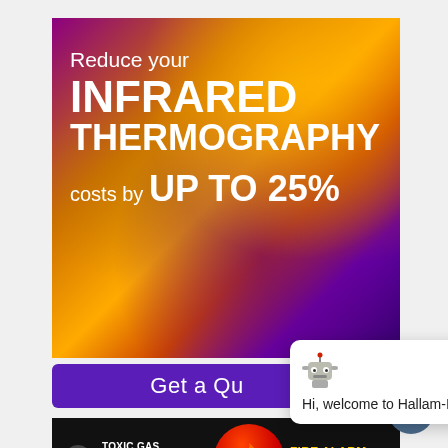[Figure (photo): Infrared thermography promotional banner with thermal imaging background showing orange, yellow, purple hues. Text overlay reads: Reduce your INFRARED THERMOGRAPHY costs by UP TO 25%]
[Figure (screenshot): Purple 'Get a Quote' button partially visible, overlapped by a chat popup widget showing a robot icon and text 'Hi, welcome to Hallam-ICS' with a close X button]
[Figure (infographic): Dark banner showing Toxic Gas Monitoring Systems on left with green glow and safety mask icon, and Fire Alarm Systems on right with red fire circle icon]